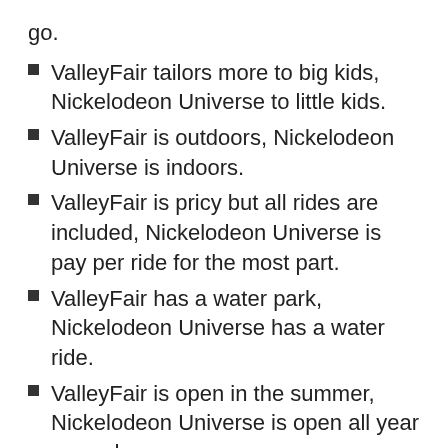go.
ValleyFair tailors more to big kids, Nickelodeon Universe to little kids.
ValleyFair is outdoors, Nickelodeon Universe is indoors.
ValleyFair is pricy but all rides are included, Nickelodeon Universe is pay per ride for the most part.
ValleyFair has a water park, Nickelodeon Universe has a water ride.
ValleyFair is open in the summer, Nickelodeon Universe is open all year around.
ValleyFair ...